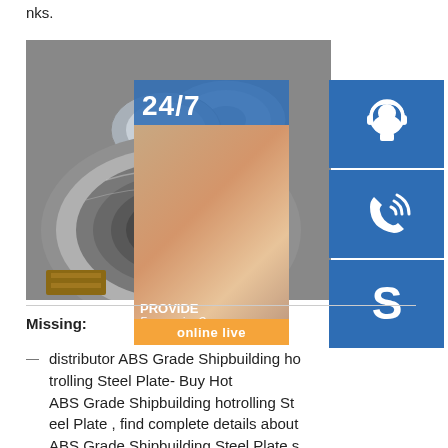nks.
[Figure (photo): Rolls of hot-rolled steel plate/coil stored in a warehouse, with an overlay showing a customer service panel (24/7), a woman with headset, service icons, and an 'online live' button.]
Missing:
distributor ABS Grade Shipbuilding hotrolling Steel Plate- Buy Hot ABS Grade Shipbuilding hotrolling Steel Plate , find complete details about ABS Grade Shipbuilding Steel Plate s